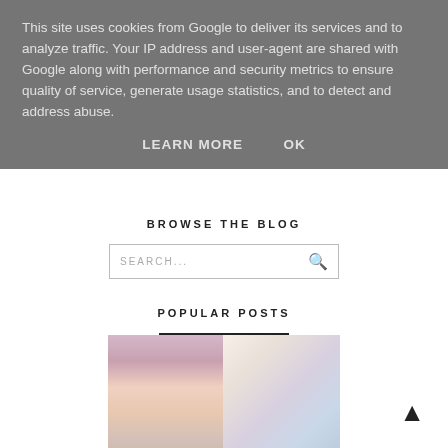This site uses cookies from Google to deliver its services and to analyze traffic. Your IP address and user-agent are shared with Google along with performance and security metrics to ensure quality of service, generate usage statistics, and to detect and address abuse.
LEARN MORE   OK
BROWSE THE BLOG
SEARCH...
POPULAR POSTS
[Figure (photo): Two-panel photo collage: left panel shows a young woman in a white outfit standing near iron railings with greenery; right panel shows a woman with long wavy brunette hair viewed from behind in front of a colorful splatter-paint wall.]